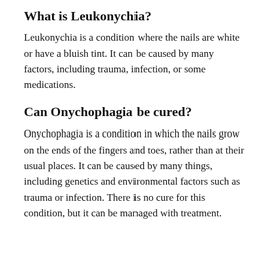What is Leukonychia?
Leukonychia is a condition where the nails are white or have a bluish tint. It can be caused by many factors, including trauma, infection, or some medications.
Can Onychophagia be cured?
Onychophagia is a condition in which the nails grow on the ends of the fingers and toes, rather than at their usual places. It can be caused by many things, including genetics and environmental factors such as trauma or infection. There is no cure for this condition, but it can be managed with treatment.